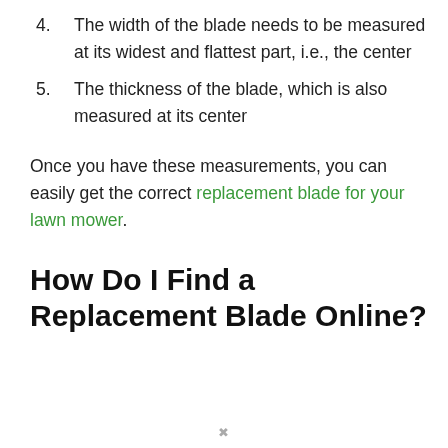4. The width of the blade needs to be measured at its widest and flattest part, i.e., the center
5. The thickness of the blade, which is also measured at its center
Once you have these measurements, you can easily get the correct replacement blade for your lawn mower.
How Do I Find a Replacement Blade Online?